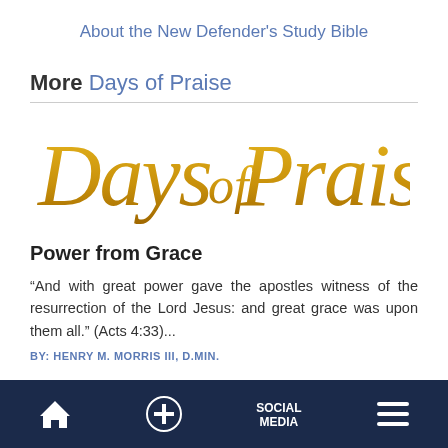About the New Defender's Study Bible
More Days of Praise
[Figure (logo): Days of Praise logo in gold/yellow stylized script text]
Power from Grace
“And with great power gave the apostles witness of the resurrection of the Lord Jesus: and great grace was upon them all.” (Acts 4:33)...
BY: HENRY M. MORRIS III, D.MIN.
Home | + | SOCIAL MEDIA | Menu